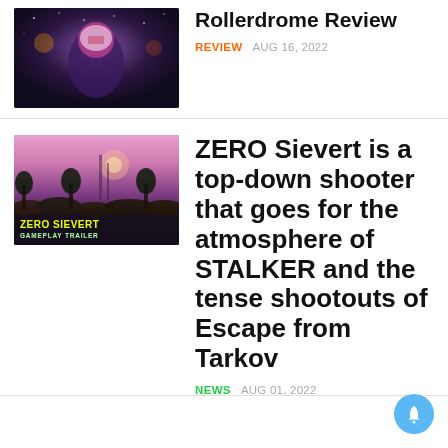[Figure (photo): Rollerdrome game artwork thumbnail showing a stylized character in helmet]
Rollerdrome Review
REVIEW   AUG 16, 2022
[Figure (photo): ZERO SIEVERT Gameplay Trailer thumbnail with purple/pink sky and yellow text]
ZERO Sievert is a top-down shooter that goes for the atmosphere of STALKER and the tense shootouts of Escape from Tarkov
NEWS   AUG 01, 2022